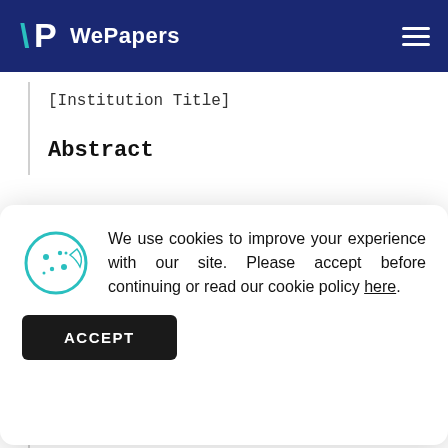WePapers
[Institution Title]
Abstract
[Figure (screenshot): Cookie consent modal dialog with cookie icon, text about improving experience, and ACCEPT button]
happiness and neuroticism varies across gender. The aim of this study is to identify the gender that is most likely influenced by a particular type